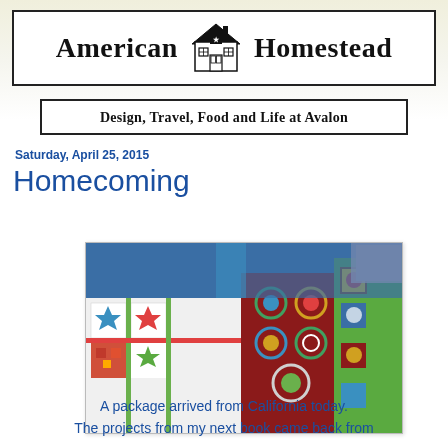American Homestead
Design, Travel, Food and Life at Avalon
Saturday, April 25, 2015
Homecoming
[Figure (photo): Colorful quilts with patchwork patterns in blue, red, green, and white, displayed on a table with various fabric designs.]
A package arrived from California today. The projects from my next book came back from